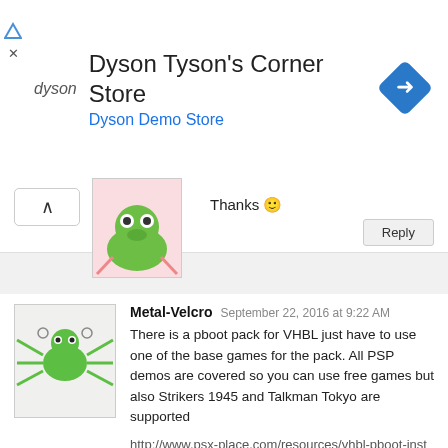[Figure (screenshot): Advertisement banner for Dyson Tyson's Corner Store showing Dyson logo, store name, 'Dyson Demo Store' subtitle in blue, and a blue navigation arrow diamond icon]
Thanks 🙂
Reply
Metal-Velcro     September 22, 2016 at 9:22 AM
There is a pboot pack for VHBL just have to use one of the base games for the pack. All PSP demos are covered so you can use free games but also Strikers 1945 and Talkman Tokyo are supported

http://www.psx-place.com/resources/vhbl-pboot-installer-pack.186/
Reply
KaTreek     September 21, 2016 at 10:46 PM
It's weird, when I look for my name/neogeo Roms, it doesn't show them even when I'm looking in the correct folder. Am I missing Beta 4 change...